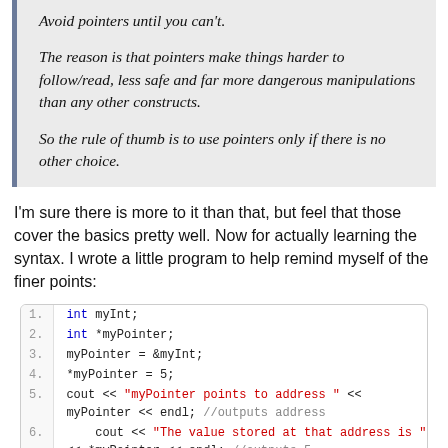Avoid pointers until you can't.

The reason is that pointers make things harder to follow/read, less safe and far more dangerous manipulations than any other constructs.

So the rule of thumb is to use pointers only if there is no other choice.
I'm sure there is more to it than that, but feel that those cover the basics pretty well. Now for actually learning the syntax. I wrote a little program to help remind myself of the finer points:
1. int myInt;
2. int *myPointer;
3. myPointer = &myInt;
4. *myPointer = 5;
5. cout << "myPointer points to address " << myPointer << endl; //outputs address
6. cout << "The value stored at that address is " << *myPointer << endl; //outputs 5
7.
8. //An array name, without brackets and a subscript, actually represents the starting
9. //address of the array. This means that an